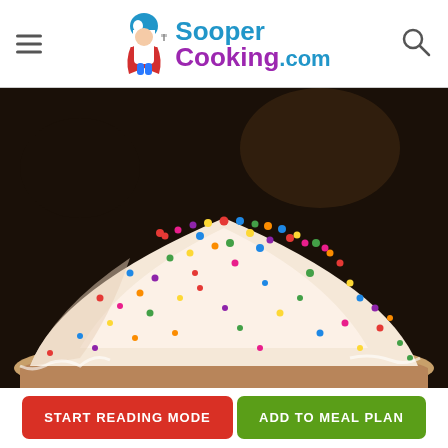SooperCooking.com
[Figure (photo): A dome-shaped cake or dessert covered in white cream/frosting with colorful sprinkles/sugar balls, set against a dark background.]
START READING MODE
ADD TO MEAL PLAN